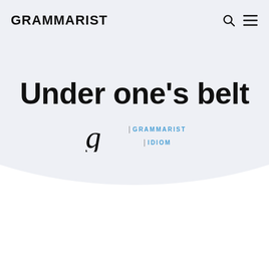GRAMMARIST
Under one’s belt
| GRAMMARIST | IDIOM